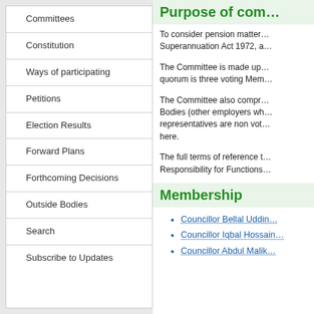Committees
Constitution
Ways of participating
Petitions
Election Results
Forward Plans
Forthcoming Decisions
Outside Bodies
Search
Subscribe to Updates
Purpose of com...
To consider pension matter... Superannuation Act 1972, a...
The Committee is made up... quorum is three voting Mem...
The Committee also compr... Bodies (other employers wh... representatives are non vot... here.
The full terms of reference t... Responsibility for Functions...
Membership
Councillor Bellal Uddin
Councillor Iqbal Hossain
Councillor Abdul Malik